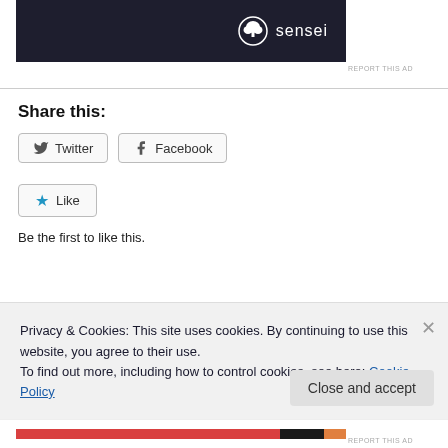[Figure (logo): Sensei logo on dark banner background with tree icon in circle]
Share this:
Twitter  Facebook
Like
Be the first to like this.
Privacy & Cookies: This site uses cookies. By continuing to use this website, you agree to their use.
To find out more, including how to control cookies, see here: Cookie Policy